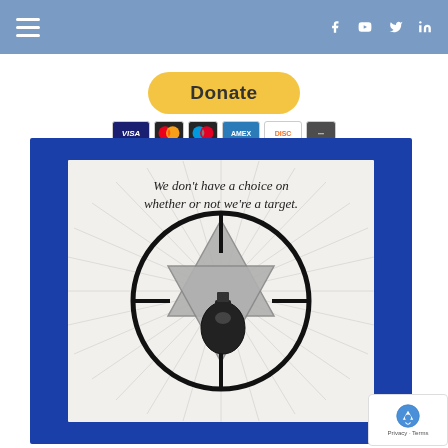Navigation bar with hamburger menu and social media icons (Facebook, YouTube, Twitter, LinkedIn)
[Figure (other): PayPal Donate button with payment card logos (Visa, Mastercard, Maestro, American Express, Discover, more)]
[Figure (illustration): Illustration with blue border: Star of David with gun crosshairs overlaid, text reads 'We don't have a choice on whether or not we're a target.']
[Figure (other): Google reCAPTCHA badge in bottom right corner]